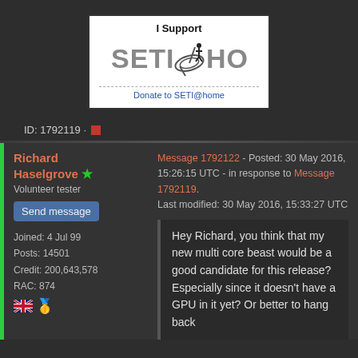[Figure (logo): SETI@home 'I Support' donation badge with satellite dish logo and text 'Donate to SETI@home']
ID: 1792119 · ▪
Richard Haselgrove ★
Volunteer tester
Send message
Joined: 4 Jul 99
Posts: 14501
Credit: 200,643,578
RAC: 874
Message 1792122 - Posted: 30 May 2016, 15:26:15 UTC - in response to Message 1792119.
Last modified: 30 May 2016, 15:33:27 UTC
Hey Richard, you think that my new multi core beast would be a good candidate for this release? Especially since it doesn't have a GPU in it yet? Or better to hang back